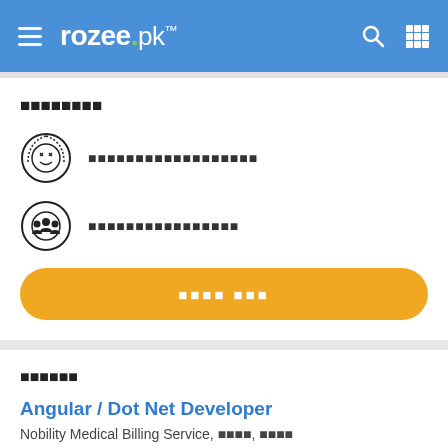rozee.pk
░░░░░░░░
░░░░░░░░░░░░░░░░░░
░░░░░░░░░░░░░░░░
░░░░ ░░░
░░░░░░
Angular / Dot Net Developer
Nobility Medical Billing Service, ░░░░, ░░░░
░░ Aug 19, 2022